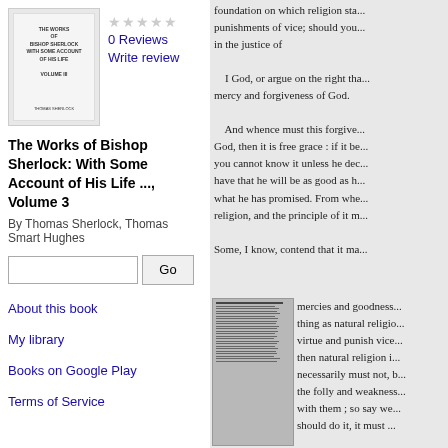[Figure (illustration): Book cover thumbnail for 'The Works of Bishop Sherlock']
0 Reviews
Write review
The Works of Bishop Sherlock: With Some Account of His Life ..., Volume 3
By Thomas Sherlock, Thomas Smart Hughes
Go
About this book
My library
Books on Google Play
Terms of Service
foundation on which religion sta... punishments of vice; should you... in the justice of

I God, or argue on the right tha... mercy and forgiveness of God.

And whence must this forgive... God, then it is free grace : if it be... you cannot know it unless he dec... have that he will be as good as h... what he has promised. From whe... religion, and the principle of it m...

Some, I know, contend that it ma...
[Figure (illustration): Small book page preview thumbnail]
mercies and goodness... thing as natural religio... virtue and punish vice... then natural religion i... necessarily must not, b... the folly and weakness... with them ; so say we... should do it, it must ...